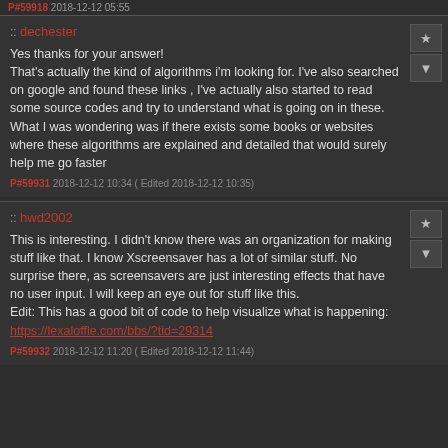P#59918 2018-12-12 05:55
:: dechester
Yes thanks for your answer!
That's actually the kind of algorithms i'm looking for. I've also searched on google and found these links , I've actually also started to read some source codes and try to understand what is going on in these. What I was wondering was if there exists some books or websites where these algorithms are explained and detailed that would surely help me go faster
P#59931 2018-12-12 10:34 ( Edited 2018-12-12 10:35)
:: hwd2002
This is interesting. I didn't know there was an organization for making stuff like that. I know Xscreensaver has a lot of similar stuff. No surprise there, as screensavers are just interesting effects that have no user input. I will keep an eye out for stuff like this.
Edit: This has a good bit of code to help visualize what is happening:
https://lexaloffle.com/bbs/?tid=29314
P#59932 2018-12-12 11:20 ( Edited 2018-12-12 11:44)